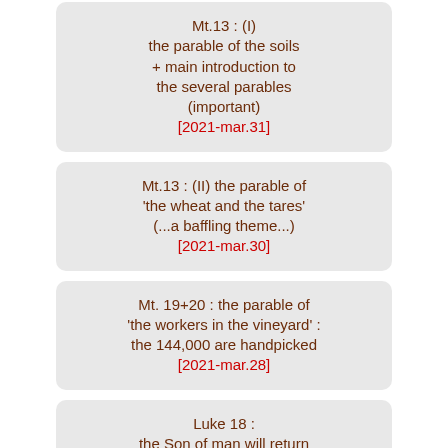Mt.13 : (I) the parable of the soils + main introduction to the several parables (important) [2021-mar.31]
Mt.13 : (II) the parable of 'the wheat and the tares' (...a baffling theme...) [2021-mar.30]
Mt. 19+20 : the parable of 'the workers in the vineyard' : the 144,000 are handpicked [2021-mar.28]
Luke 18 : the Son of man will return